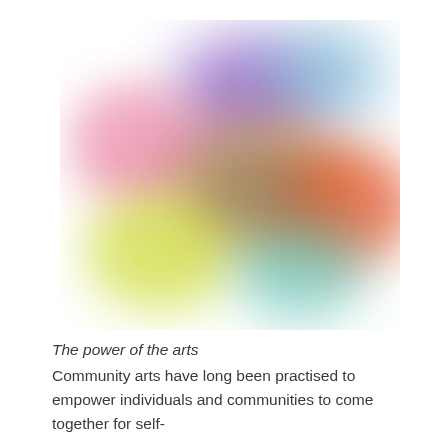[Figure (illustration): Abstract blurred colorful blob illustration with overlapping soft color patches: pink, purple, blue, orange-red, yellow-green, teal, and brown tones blending together on a white background.]
The power of the arts
Community arts have long been practised to empower individuals and communities to come together for self-